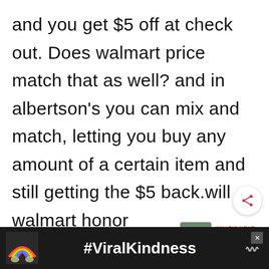and you get $5 off at check out. Does walmart price match that as well? and in albertson's you can mix and match, letting you buy any amount of a certain item and still getting the $5 back.will walmart honor
[Figure (other): Share button (circular white button with share icon)]
[Figure (other): What's Next panel with thumbnail image and text 'How To Remove Wat...']
[Figure (other): Advertisement bar at bottom with rainbow illustration and #ViralKindness hashtag on dark background]